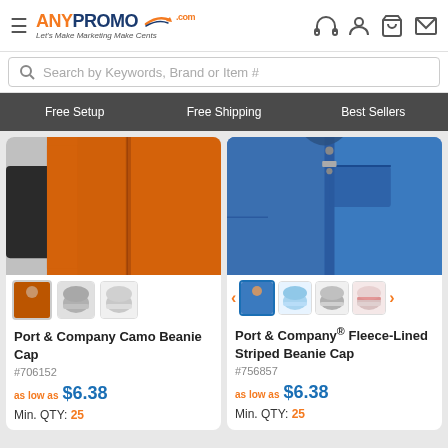AnyPromo.com - Let's Make Marketing Make Cents
Search by Keywords, Brand or Item #
Free Setup | Free Shipping | Best Sellers
[Figure (photo): Orange jacket worn by model - Port & Company Camo Beanie Cap product image with color swatches]
Port & Company Camo Beanie Cap
#706152
as low as $6.38
Min. QTY: 25
[Figure (photo): Blue jacket worn by model - Port & Company Fleece-Lined Striped Beanie Cap product image with color swatches and navigation arrows]
Port & Company® Fleece-Lined Striped Beanie Cap
#756857
as low as $6.38
Min. QTY: 25